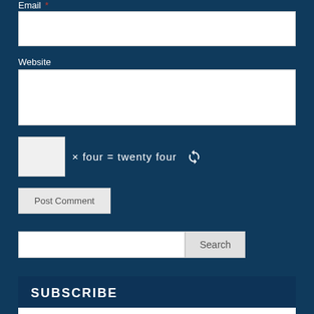Email *
[Figure (screenshot): White input field for Email]
Website
[Figure (screenshot): White input field for Website]
[Figure (screenshot): CAPTCHA widget: white box × four = twenty four with refresh icon]
[Figure (screenshot): Post Comment button]
[Figure (screenshot): Search input field and Search button]
SUBSCRIBE
Subscribe to News/Blogs